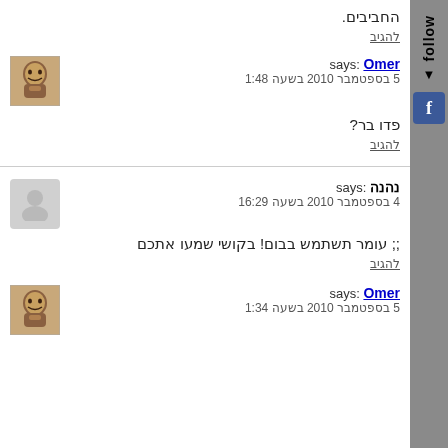החביבים.
להגיב
Omer says:
5 בספטמבר 2010 בשעה 1:48
פדו בר?
להגיב
נהנה :says
4 בספטמבר 2010 בשעה 16:29
;; עומר תשתמש בבום! בקושי שמעו אתכם
להגיב
Omer says:
5 בספטמבר 2010 בשעה 1:34